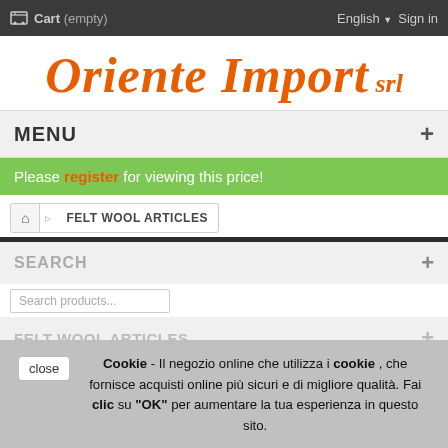Cart (empty)   English   Sign in
[Figure (logo): Oriente Import srl logo in orange italic serif font]
MENU +
Please register for viewing this price!
FELT WOOL ARTICLES
SEARCH +
Cookie - Il negozio online che utilizza i cookie , che fornisce acquisti online più sicuri e di migliore qualità. Fai clic su "OK" per aumentare la tua esperienza in questo sito.
FELT WOOL ARTICLES +